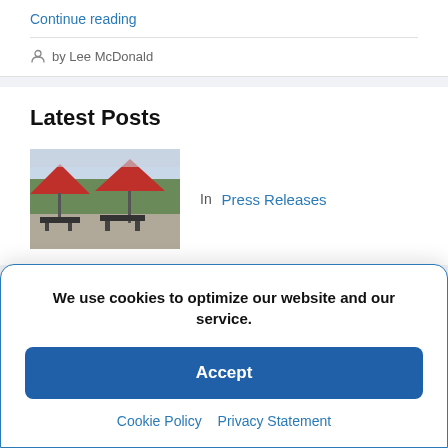Continue reading
by Lee McDonald
Latest Posts
[Figure (photo): Outdoor patio with red umbrellas and tables]
In  Press Releases
We use cookies to optimize our website and our service.
Accept
Cookie Policy  Privacy Statement